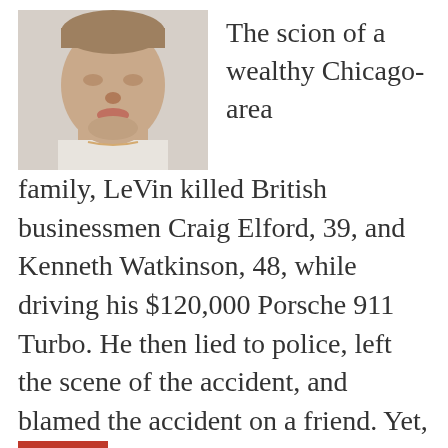[Figure (photo): Mugshot-style photo of a young white male, close-cropped, showing face and upper chest, wearing a white shirt, with neutral expression.]
The scion of a wealthy Chicago-area family, LeVin killed British businessmen Craig Elford, 39, and Kenneth Watkinson, 48, while driving his $120,000 Porsche 911 Turbo. He then lied to police, left the scene of the accident, and blamed the accident on a friend. Yet, Broward Circuit Judge Barbara McCarthy decided no jail time was needed